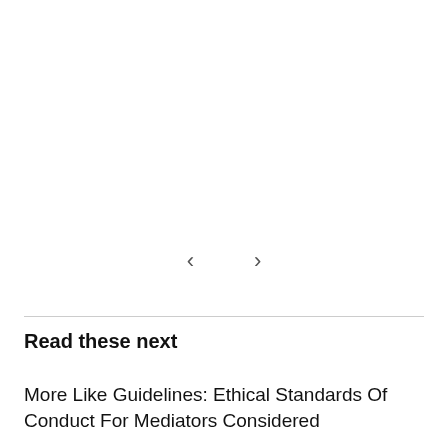[Figure (other): Navigation arrow controls (left and right chevrons) for a carousel or slideshow]
Read these next
More Like Guidelines: Ethical Standards Of Conduct For Mediators Considered